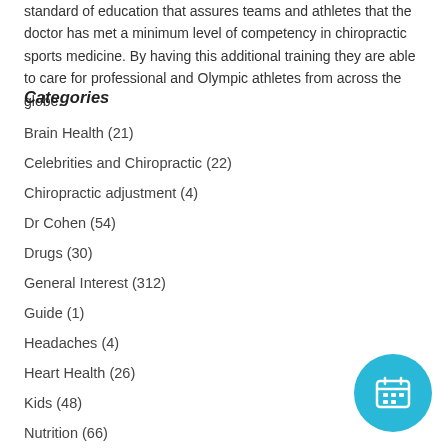standard of education that assures teams and athletes that the doctor has met a minimum level of competency in chiropractic sports medicine. By having this additional training they are able to care for professional and Olympic athletes from across the globe.
Categories
Brain Health (21)
Celebrities and Chiropractic (22)
Chiropractic adjustment (4)
Dr Cohen (54)
Drugs (30)
General Interest (312)
Guide (1)
Headaches (4)
Heart Health (26)
Kids (48)
Nutrition (66)
[Figure (illustration): Cyan circular button with a calendar icon in white]